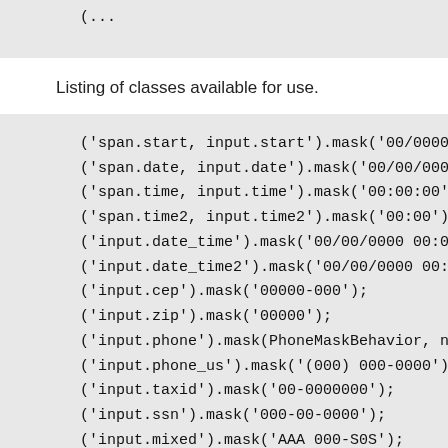[...] p placeholder text (truncated at top)
Listing of classes available for use.
('span.start, input.start').mask('00/0000
('span.date, input.date').mask('00/00/0000
('span.time, input.time').mask('00:00:00')
('span.time2, input.time2').mask('00:00');
('input.date_time').mask('00/00/0000 00:00
('input.date_time2').mask('00/00/0000 00:0
('input.cep').mask('00000-000');
('input.zip').mask('00000');
('input.phone').mask(PhoneMaskBehavior, no
('input.phone_us').mask('(000) 000-0000');
('input.taxid').mask('00-0000000');
('input.ssn').mask('000-00-0000');
('input.mixed').mask('AAA 000-S0S');